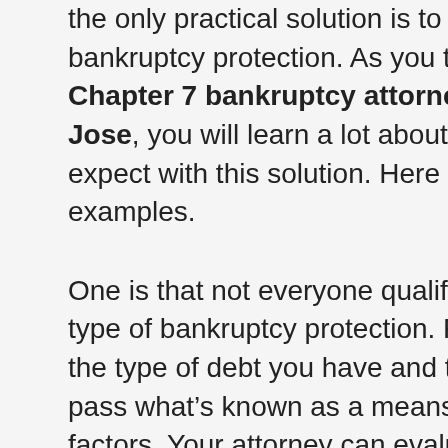the only practical solution is to seek bankruptcy protection. As you talk with your Chapter 7 bankruptcy attorney in San Jose, you will learn a lot about what to expect with this solution. Here are a few examples.
One is that not everyone qualifies for this type of bankruptcy protection. Factors like the type of debt you have and the ability to pass what's known as a means test are key factors. Your attorney can evaluate your situation and determine if this is the right solution